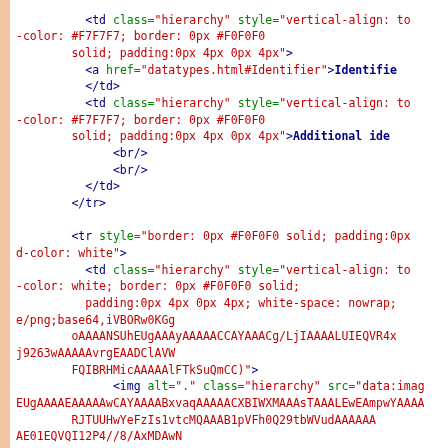HTML source code snippet showing table row and cell elements with hierarchy class styling, inline base64 image data, and img tag